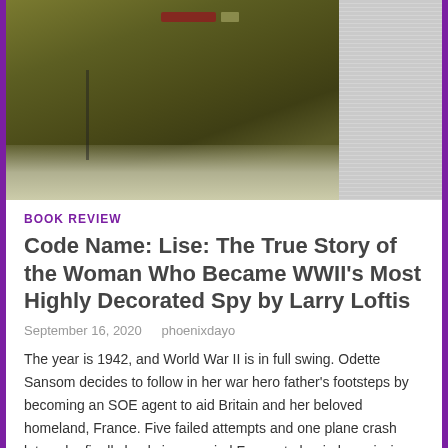[Figure (photo): Black and white or muted photo of a person in WWII-era military uniform with badges/insignia on chest, partial view of another figure beside them, cropped at top]
BOOK REVIEW
Code Name: Lise: The True Story of the Woman Who Became WWII's Most Highly Decorated Spy by Larry Loftis
September 16, 2020   phoenixdayo
The year is 1942, and World War II is in full swing. Odette Sansom decides to follow in her war hero father's footsteps by becoming an SOE agent to aid Britain and her beloved homeland, France. Five failed attempts and one plane crash later, she finally lands in occupied France to begin her mission. It… Continue